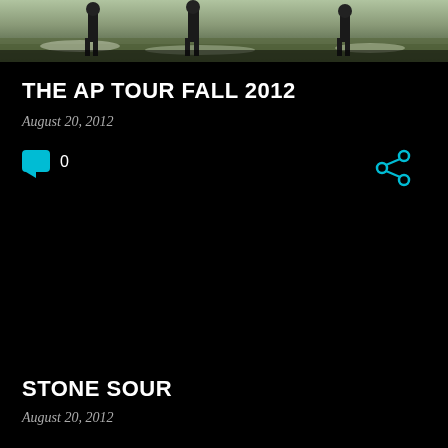[Figure (photo): Cropped photo of people outdoors in a wintry/grassy landscape, only lower portion visible showing legs/feet]
THE AP TOUR FALL 2012
August 20, 2012
[Figure (infographic): Teal speech bubble comment icon with count 0, and teal share icon on the right]
STONE SOUR
August 20, 2012